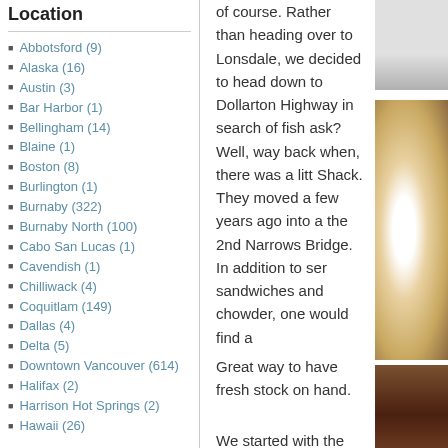Location
Abbotsford (9)
Alaska (16)
Austin (3)
Bar Harbor (1)
Bellingham (14)
Blaine (1)
Boston (8)
Burlington (1)
Burnaby (322)
Burnaby North (100)
Cabo San Lucas (1)
Cavendish (1)
Chilliwack (4)
Coquitlam (149)
Dallas (4)
Delta (5)
Downtown Vancouver (614)
Halifax (2)
Harrison Hot Springs (2)
Hawaii (26)
of course. Rather than heading over to Lonsdale, we decided to head down to Dollarton Highway in search of fish ask? Well, way back when, there was a little Shack. They moved a few years ago into a the 2nd Narrows Bridge. In addition to ser sandwiches and chowder, one would find a Great way to have fresh stock on hand.
[Figure (photo): Photo of a grey surface, likely a plate or tray, top portion cut off]
We started with the Clam Chowder which was more floury thick rather than creamy. However, it did taste like the sea while having a
[Figure (photo): Close-up photo of a white bowl with creamy clam chowder soup and a white plastic spoon]
[Figure (photo): Partial photo at bottom right, dark tones, appears to be food]